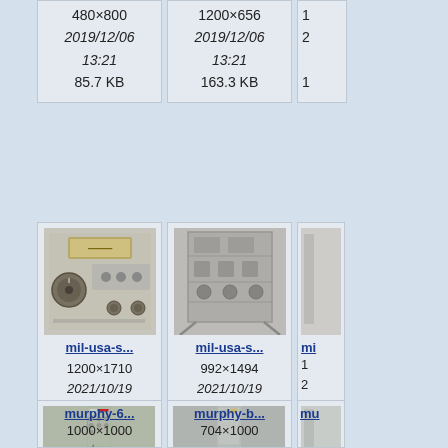[Figure (screenshot): File browser/gallery screenshot showing military and murphy equipment image thumbnails with filenames, dimensions, dates, and file sizes. Row 1 (partial top): two cards showing mil-usa-... files, 480×800 2019/12/06 13:21 85.7 KB and 1200×656 2019/12/06 13:21 163.3 KB, plus partial third card. Row 2: mil-usa-s... 1200×1710 2021/10/19 18:49 333.9 KB (radio/receiver photo), mil-usa-s... 992×1494 2021/10/19 18:54 292 KB (circuit/equipment photo), partial third card. Row 3 (partial bottom): murphy-6... (test equipment photo), murphy-b... (box/cabinet photo), partial third card.]